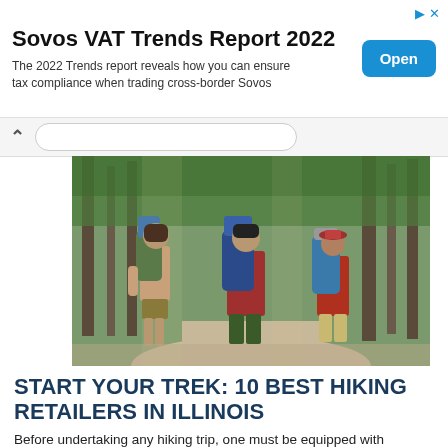[Figure (other): Advertisement banner for Sovos VAT Trends Report 2022 with Open button]
Sovos VAT Trends Report 2022
The 2022 Trends report reveals how you can ensure tax compliance when trading cross-border Sovos
[Figure (photo): Group of hikers with large backpacks walking through a forest on a trail, seen from behind.]
START YOUR TREK: 10 BEST HIKING RETAILERS IN ILLINOIS
Before undertaking any hiking trip, one must be equipped with